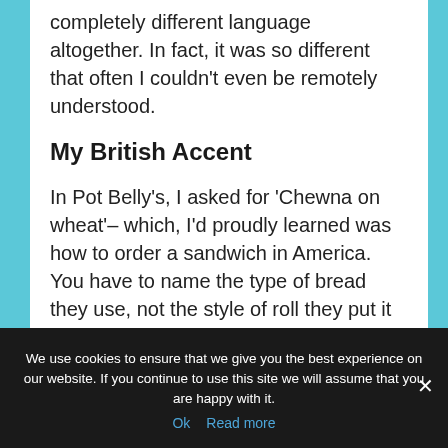completely different language altogether. In fact, it was so different that often I couldn't even be remotely understood.
My British Accent
In Pot Belly's, I asked for 'Chewna on wheat'– which, I'd proudly learned was how to order a sandwich in America. You have to name the type of bread they use, not the style of roll they put it on.
We use cookies to ensure that we give you the best experience on our website. If you continue to use this site we will assume that you are happy with it.